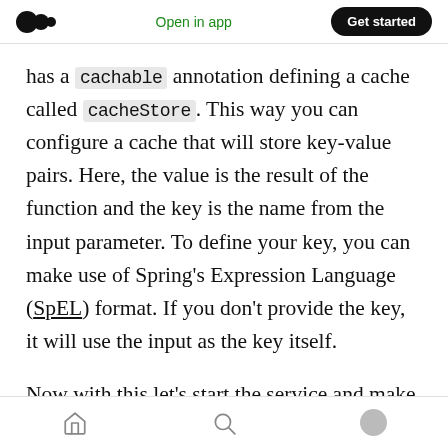Medium app navigation bar — logo, Open in app, Get started
has a cachable annotation defining a cache called cacheStore. This way you can configure a cache that will store key-value pairs. Here, the value is the result of the function and the key is the name from the input parameter. To define your key, you can make use of Spring's Expression Language (SpEL) format. If you don't provide the key, it will use the input as the key itself.
Now with this let's start the service and make a call to the service.
Bottom navigation bar — home, search, profile